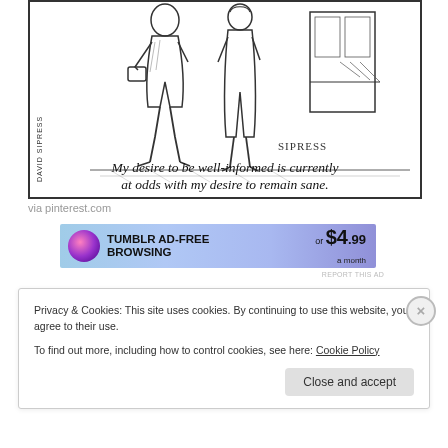[Figure (illustration): New Yorker style cartoon by David Sipress showing two people walking. Caption reads: My desire to be well-informed is currently at odds with my desire to remain sane. Signature 'SIPRESS' visible.]
via pinterest.com
[Figure (infographic): Tumblr ad banner: TUMBLR AD-FREE BROWSING or $4.99 a month]
REPORT THIS AD
Privacy & Cookies: This site uses cookies. By continuing to use this website, you agree to their use.
To find out more, including how to control cookies, see here: Cookie Policy
Close and accept